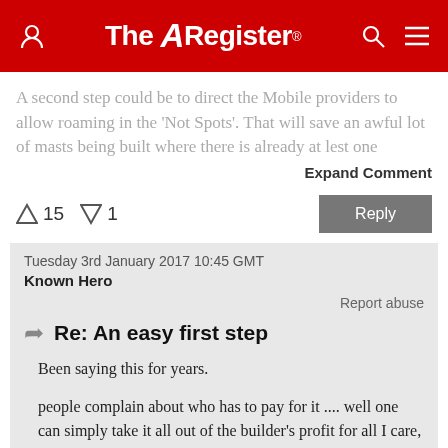The Register
A second step could be to direct the Mobile providers to allow roaming in the 'Not Spots'. That will save an awful lot of masts being built where there is already at lest one
Expand Comment
↑15  ↓1
Reply
Tuesday 3rd January 2017 10:45 GMT
Known Hero
Report abuse
Re: An easy first step
Been saying this for years.
people complain about who has to pay for it .... well one can simply take it all out of the builder's profit for all I care, the fuckers are fleecing everybody at this point.